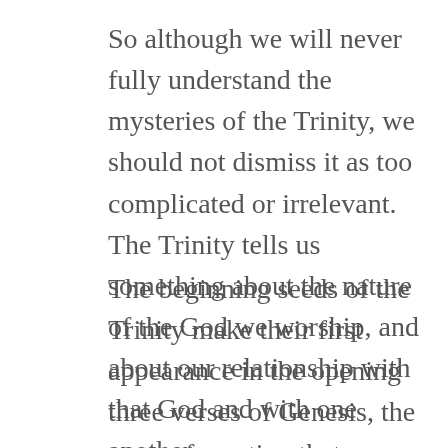So although we will never fully understand the mysteries of the Trinity, we should not dismiss it as too complicated or irrelevant. The Trinity tells us something about the nature of the God we worship, and about our relationship with that God and with one another.
The beginning seeds of the Trinity make their first appearance in the opening three verses of Genesis, the story of creation that we heard this morning.
First comes God the Father, or Creator, who was there before anything else. “In the beginning when God created the heavens and